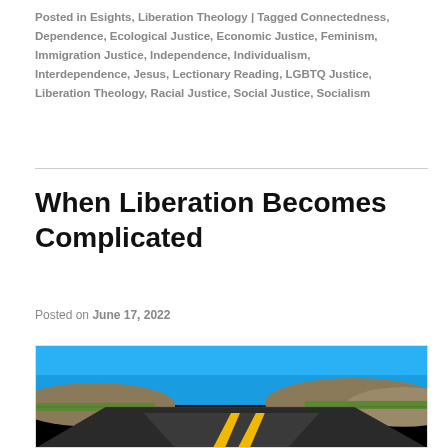Posted in Esights, Liberation Theology | Tagged Connectedness, Dependence, Ecological Justice, Economic Justice, Feminism, Immigration Justice, Independence, Individualism, Interdependence, Jesus, Lectionary Reading, LGBTQ Justice, Liberation Theology, Racial Justice, Social Justice, Socialism
When Liberation Becomes Complicated
Posted on June 17, 2022
[Figure (photo): A wide open road stretching into the distance under a bright blue sky, with yellow center lines visible on dark asphalt pavement, green hills on either side.]